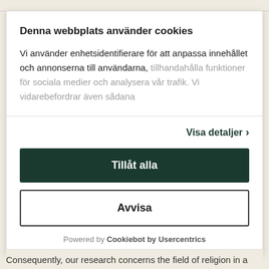Denna webbplats använder cookies
Vi använder enhetsidentifierare för att anpassa innehållet och annonserna till användarna, tillhandahålla funktioner för sociala medier och analysera vår trafik. Vi vidarebefordrar även sådana
Visa detaljer ›
Tillåt alla
Avvisa
Powered by Cookiebot by Usercentrics
Consequently, our research concerns the field of religion in a